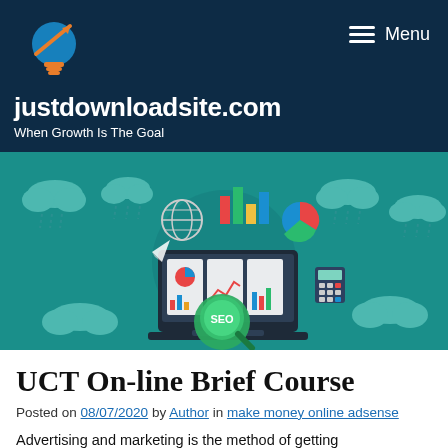justdownloadsite.com — When Growth Is The Goal
[Figure (illustration): A teal/green marketing and SEO themed hero illustration featuring a laptop displaying dashboard charts, a magnifying glass with 'SEO' text, bar charts, pie charts, globe icon, calculator, paper airplane, and cloud icons with rain, all set on a teal background.]
UCT On-line Brief Course
Posted on 08/07/2020 by Author in make money online adsense
Advertising and marketing is the method of getting